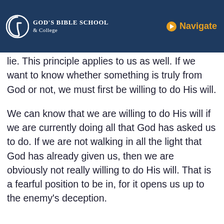[Figure (logo): God's Bible School & College logo with circular G icon on dark navy background header bar]
lie. This principle applies to us as well. If we want to know whether something is truly from God or not, we must first be willing to do His will.
We can know that we are willing to do His will if we are currently doing all that God has asked us to do. If we are not walking in all the light that God has already given us, then we are obviously not really willing to do His will. That is a fearful position to be in, for it opens us up to the enemy's deception.